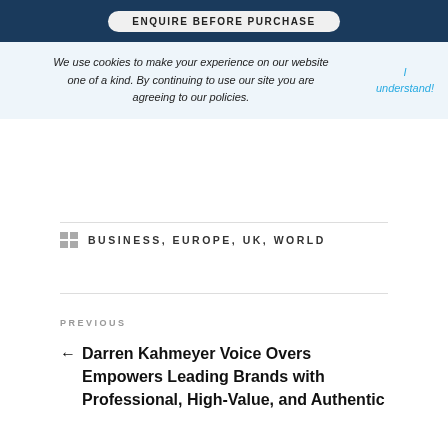ENQUIRE BEFORE PURCHASE
We use cookies to make your experience on our website one of a kind. By continuing to use our site you are agreeing to our policies.
I understand!
BUSINESS, EUROPE, UK, WORLD
PREVIOUS
← Darren Kahmeyer Voice Overs Empowers Leading Brands with Professional, High-Value, and Authentic